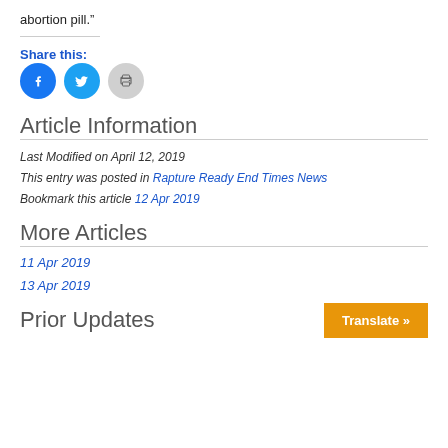abortion pill.”
Share this:
[Figure (other): Social share icons: Facebook (blue circle), Twitter (light blue circle), Print (gray circle)]
Article Information
Last Modified on April 12, 2019
This entry was posted in Rapture Ready End Times News
Bookmark this article 12 Apr 2019
More Articles
11 Apr 2019
13 Apr 2019
Prior Updates
Translate »